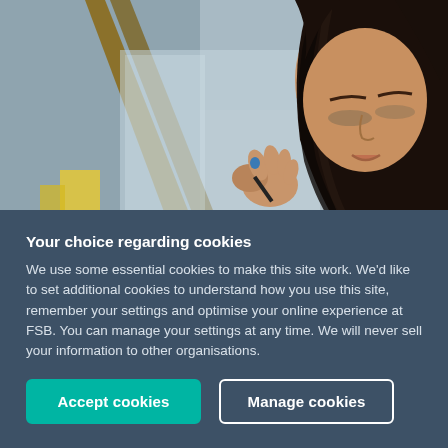[Figure (photo): A young woman with long dark wavy hair looks down and uses a tool or pen on a glass or reflective surface. She appears to be in a studio or workshop setting. The background shows blurred shelves and light.]
Your choice regarding cookies
We use some essential cookies to make this site work. We'd like to set additional cookies to understand how you use this site, remember your settings and optimise your online experience at FSB. You can manage your settings at any time. We will never sell your information to other organisations.
Accept cookies
Manage cookies